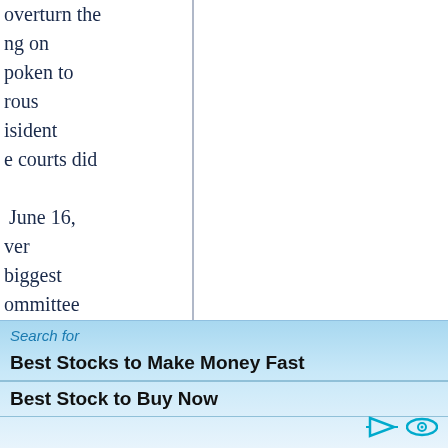overturn the
ng on
poken to
rous
isident
e courts did

June 16,
ver
biggest
ommittee
ead

ount Act
ctoral
rsonal legal
ll of US
Michael
[Figure (other): Advertisement bar with search label and two bold links: 'Best Stocks to Make Money Fast' and 'Best Stock to Buy Now', with play and eye icons at bottom right.]